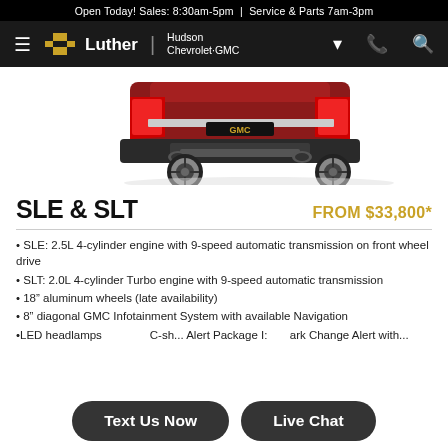Open Today! Sales: 8:30am-5pm | Service & Parts 7am-3pm
[Figure (screenshot): Luther Hudson Chevrolet-GMC navigation bar with hamburger menu, Chevrolet bowtie logo, brand name, location pin, phone, and search icons]
[Figure (photo): Rear view of a red GMC SUV (Terrain or similar) on a white background, showing the back bumper, taillights, and alloy wheels]
SLE & SLT
FROM $33,800*
SLE: 2.5L 4-cylinder engine with 9-speed automatic transmission on front wheel drive
SLT: 2.0L 4-cylinder Turbo engine with 9-speed automatic transmission
18" aluminum wheels (late availability)
8" diagonal GMC Infotainment System with available Navigation
LED headlamps ... C-sh... Alert Package I: ... ark Change Alert with...
Text Us Now
Live Chat